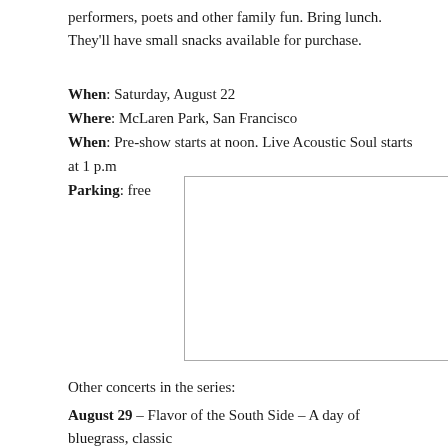performers, poets and other family fun. Bring lunch. They'll have small snacks available for purchase.
When: Saturday, August 22
Where: McLaren Park, San Francisco
When: Pre-show starts at noon. Live Acoustic Soul starts at 1 p.m
Parking: free
[Figure (other): Empty white rectangle with thin border — placeholder image box]
Other concerts in the series:
August 29 – Flavor of the South Side – A day of bluegrass, classic rock, folk and jazz music featuring, Pucci and the Pups, Back Porch Band and Delmarva.
October 10 – The Kids' Festival – with Charity and the JAMBand